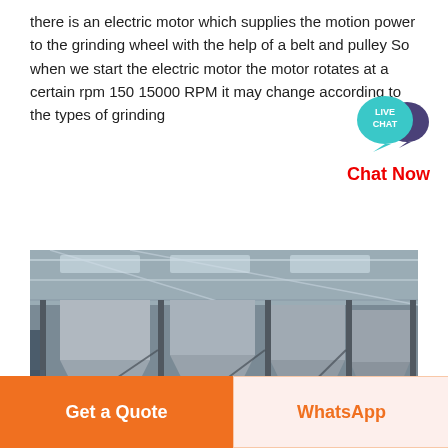there is an electric motor which supplies the motion power to the grinding wheel with the help of a belt and pulley So when we start the electric motor the motor rotates at a certain rpm 150 15000 RPM it may change according to the types of grinding
[Figure (photo): Industrial factory interior showing large hopper/bin structures mounted on steel frames inside a large warehouse with metal roof trusses and workers visible at ground level.]
[Figure (other): Live Chat widget: teal speech bubble with LIVE CHAT text and Chat Now label in red below it.]
Get a Quote
WhatsApp